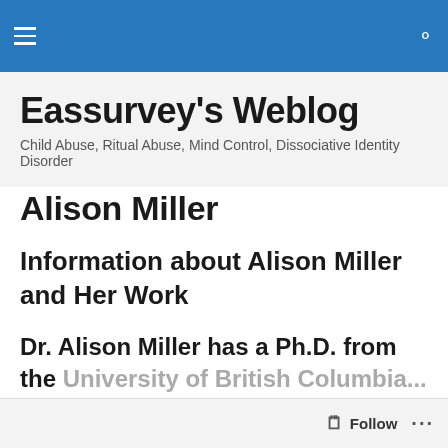Eassurvey's Weblog — navigation header bar
Eassurvey's Weblog
Child Abuse, Ritual Abuse, Mind Control, Dissociative Identity Disorder
Alison Miller
Information about Alison Miller and Her Work
Dr. Alison Miller has a Ph.D. from the University of British Columbia...
Follow ...